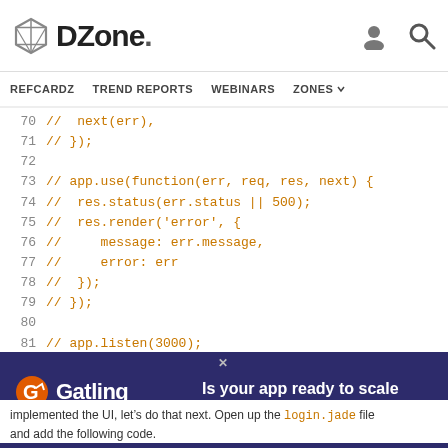DZone. REFCARDZ TREND REPORTS WEBINARS ZONES
[Figure (screenshot): Code editor screenshot showing commented-out Node.js/Express code lines 70-82 in orange monospace font on white background. Lines show: // next(err); // }); blank line // app.use(function(err, req, res, next) { //  res.status(err.status || 500); //  res.render('error', { //     message: err.message, //     error: err //  }); // }); blank line // app.listen(3000); blank line]
[Figure (infographic): Gatling advertisement banner with dark navy/purple background. Shows Gatling logo with text 'Test. Succeed. Iterate.' on left and 'Is your app ready to scale performance issues Start' on right with orange Start text.]
implemented the UI, let's do that next. Open up the login.jade file and add the following code.